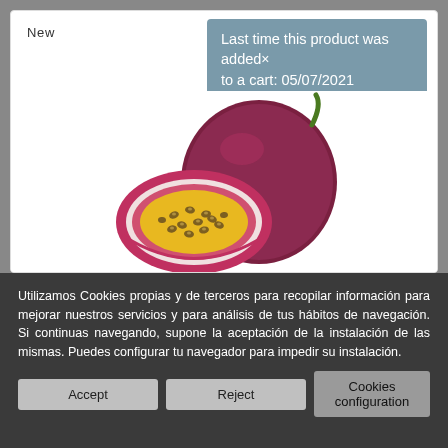New
Last time this product was added× to a cart: 05/07/2021
[Figure (photo): Passion fruit: one whole dark purple/red passion fruit with green stem, and one half showing yellow interior with seeds, on white background]
Utilizamos Cookies propias y de terceros para recopilar información para mejorar nuestros servicios y para análisis de tus hábitos de navegación. Si continuas navegando, supone la aceptación de la instalación de las mismas. Puedes configurar tu navegador para impedir su instalación.
Accept
Reject
Cookies configuration